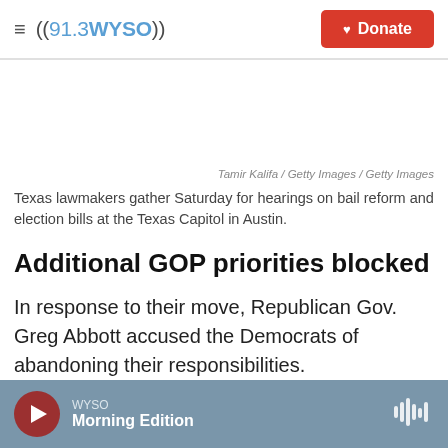((91.3 WYSO)) Donate
[Figure (photo): White/blank image area representing a photo of Texas lawmakers at the Texas Capitol in Austin (image area appears blank/white in this view)]
Tamir Kalifa / Getty Images / Getty Images
Texas lawmakers gather Saturday for hearings on bail reform and election bills at the Texas Capitol in Austin.
Additional GOP priorities blocked
In response to their move, Republican Gov. Greg Abbott accused the Democrats of abandoning their responsibilities.
WYSO Morning Edition